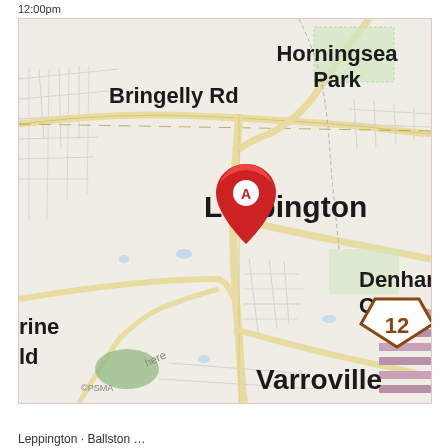12:00pm
[Figure (map): Street map showing Leppington area with a red location marker (A) at Leppington. Surrounding areas visible include Horningsea Park to the north-east, Bringelly Rd running horizontally across the upper portion, Denham Court to the south-east, Varroville to the south, and a road sign showing route 12 to the lower left. Map attributed to HERE and PSMA.]
Leppington · Ballston ...